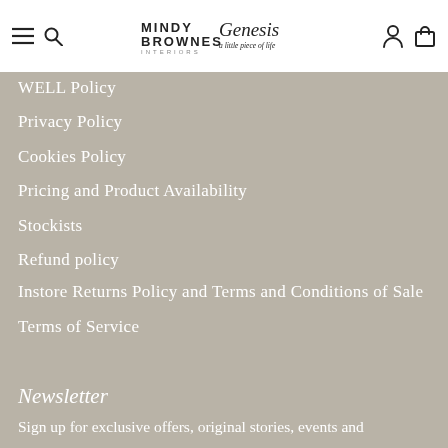Mindy Brownes Interiors / Genesis – a little piece of life (navigation header with logo, hamburger, search, account, cart icons)
WELL Policy
Privacy Policy
Cookies Policy
Pricing and Product Availability
Stockists
Refund policy
Instore Returns Policy and Terms and Conditions of Sale
Terms of Service
Newsletter
Sign up for exclusive offers, original stories, events and